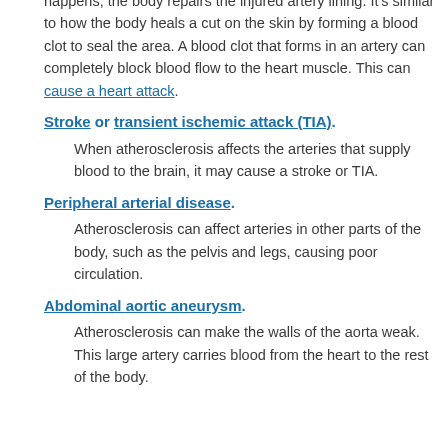happens, the body repairs the injured artery lining. It's similar to how the body heals a cut on the skin by forming a blood clot to seal the area. A blood clot that forms in an artery can completely block blood flow to the heart muscle. This can cause a heart attack.
Stroke or transient ischemic attack (TIA).
When atherosclerosis affects the arteries that supply blood to the brain, it may cause a stroke or TIA.
Peripheral arterial disease.
Atherosclerosis can affect arteries in other parts of the body, such as the pelvis and legs, causing poor circulation.
Abdominal aortic aneurysm.
Atherosclerosis can make the walls of the aorta weak. This large artery carries blood from the heart to the rest of the body.